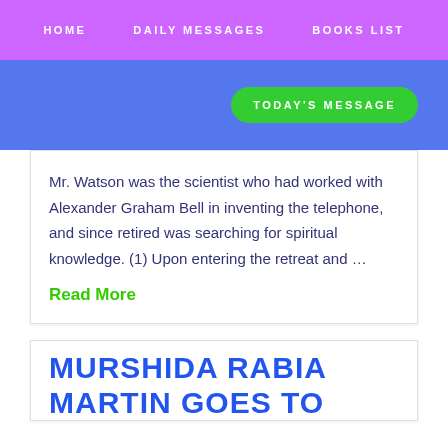HOME   DAILY MESSAGES   BOOKS LIST
TODAY'S MESSAGE
Mr. Watson was the scientist who had worked with Alexander Graham Bell in inventing the telephone, and since retired was searching for spiritual knowledge. (1) Upon entering the retreat and …
Read More
MURSHIDA RABIA MARTIN GOES TO